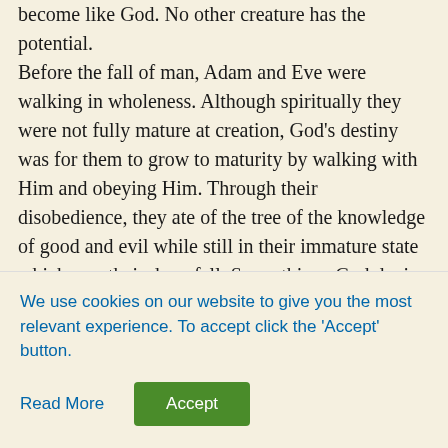become like God. No other creature has the potential. Before the fall of man, Adam and Eve were walking in wholeness. Although spiritually they were not fully mature at creation, God's destiny was for them to grow to maturity by walking with Him and obeying Him. Through their disobedience, they ate of the tree of the knowledge of good and evil while still in their immature state which was their downfall. Some things God denies us at present because they are not good for us in our immaturity, but later He desires for us to have them. After Adam and Eve matured, I believe God intended to give them not only the tree of the knowledge of good and evil, but also the tree of life to eat in order that they would live forever. However, because of their disobedience they fell into sin and darkness, and all mankind followed. The Lord Jesus
We use cookies on our website to give you the most relevant experience. To accept click the 'Accept' button.